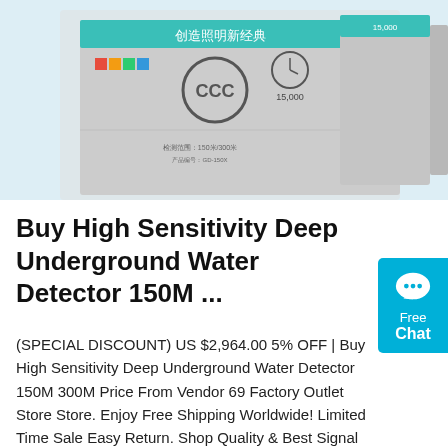[Figure (photo): Product photo showing High Sensitivity Deep Underground Water Detector boxes/packaging with Chinese text and CCC certification mark on a light blue background]
Buy High Sensitivity Deep Underground Water Detector 150M ...
(SPECIAL DISCOUNT) US $2,964.00 5% OFF | Buy High Sensitivity Deep Underground Water Detector 150M 300M Price From Vendor 69 Factory Outlet Store Store. Enjoy Free Shipping Worldwide! Limited Time Sale Easy Return. Shop Quality & Best Signal Generators Directly From China Signal Generators Suppliers.
[Figure (other): Get Price button - orange rounded rectangle button with white text]